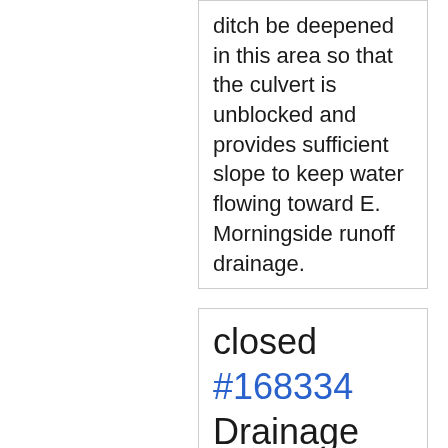ditch be deepened in this area so that the culvert is unblocked and provides sufficient slope to keep water flowing toward E. Morningside runoff drainage.
closed #168334 Drainage or Runoff